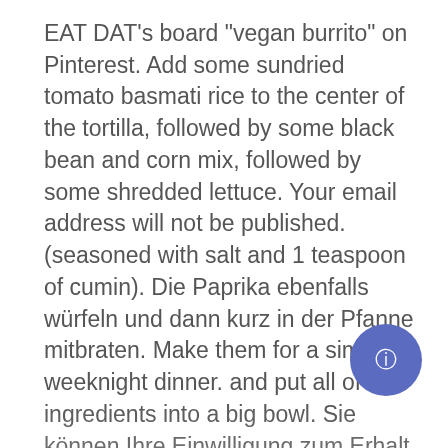EAT DAT's board "vegan burrito" on Pinterest. Add some sundried tomato basmati rice to the center of the tortilla, followed by some black bean and corn mix, followed by some shredded lettuce. Your email address will not be published. (seasoned with salt and 1 teaspoon of cumin). Die Paprika ebenfalls würfeln und dann kurz in der Pfanne mitbraten. Make them for a simple weeknight dinner. and put all of the ingredients into a big bowl. Sie können Ihre Einwilligung zum Erhalt des Newsletters jederzeit widerrufen, z. Über uns Das Rezept für die veganen Burritos könnte nicht viel einfacher sein. Then add some of the bean corn salad on top. You love burritos but you want your meal to have less calories? Are you ready for some raw TexMex?!? Römertopf-Rezept: Gulasch. For a gluten-free...